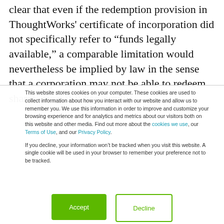clear that even if the redemption provision in ThoughtWorks' certificate of incorporation did not specifically refer to “funds legally available,” a comparable limitation would nevertheless be implied by law in the sense that a corporation may not be able to redeem shares, even if it has surplus,
This website stores cookies on your computer. These cookies are used to collect information about how you interact with our website and allow us to remember you. We use this information in order to improve and customize your browsing experience and for analytics and metrics about our visitors both on this website and other media. Find out more about the cookies we use, our Terms of Use, and our Privacy Policy.
If you decline, your information won’t be tracked when you visit this website. A single cookie will be used in your browser to remember your preference not to be tracked.